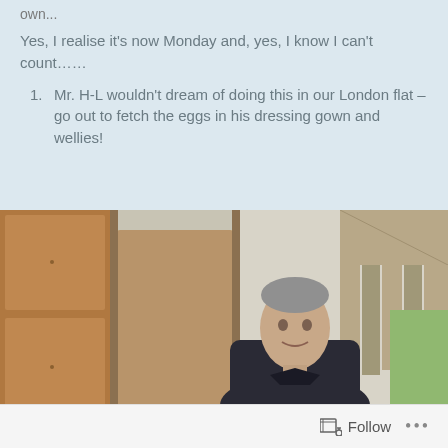own...
Yes, I realise it’s now Monday and, yes, I know I can’t count……
1. Mr. H-L wouldn’t dream of doing this in our London flat – go out to fetch the eggs in his dressing gown and wellies!
[Figure (photo): A man with grey hair wearing a dark jacket stands in a doorway of a room with wooden doors and patterned curtains on the right side.]
Follow •••